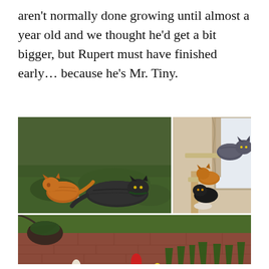aren't normally done growing until almost a year old and we thought he'd get a bit bigger, but Rupert must have finished early… because he's Mr. Tiny.
[Figure (photo): Top-left: Two cats resting on grass — an orange tabby cat on the left and a large dark/black cat on the right, both lying on green lawn.]
[Figure (photo): Top-right: Two cats on a cat tree near a window — a dark gray long-haired cat on top perch and a smaller orange tabby cat on a lower perch, with a black cat visible below.]
[Figure (photo): Bottom: Two cats in a garden with tulips and greenery against a brick wall — a dark tortoiseshell cat on the left and an orange tabby cat on the right.]